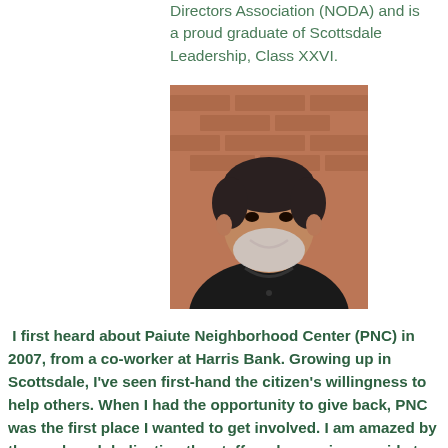Directors Association (NODA) and is a proud graduate of Scottsdale Leadership, Class XXVI.
[Figure (photo): Portrait photo of a middle-aged Hispanic man with a gray beard, wearing a black polo shirt, smiling, in front of a brick wall background.]
I first heard about Paiute Neighborhood Center (PNC) in 2007, from a co-worker at Harris Bank. Growing up in Scottsdale, I've seen first-hand the citizen's willingness to help others. When I had the opportunity to give back, PNC was the first place I wanted to get involved. I am amazed by the work and dedication the staff, and agencies provide to